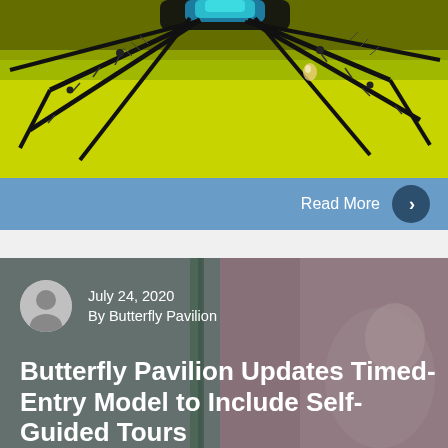[Figure (photo): Close-up macro photograph of an insect (likely a mosquito or similar arthropod) with dark spindly legs, fine hairs, against a yellow-green background, with iridescent blue-teal coloring on its body]
Read More
[Figure (photo): Blog post card with background image showing a child looking at plants/nature through glass, with a plant stem in the foreground; overlaid with author info and article title]
July 24, 2020
By Butterfly Pavilion
Butterfly Pavilion Updates Timed-Entry Model to Include Self-Guided Tours